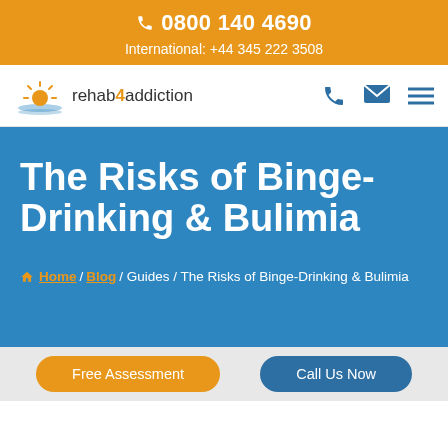📞 0800 140 4690
International: +44 345 222 3508
[Figure (logo): rehab4addiction logo with sunrise graphic]
The Risks of Binge-Drinking & Bulimia
🏠 Home / Blog / Guides / The Risks of Binge-Drinking & Bulimia
Free Assessment | Call Us Now